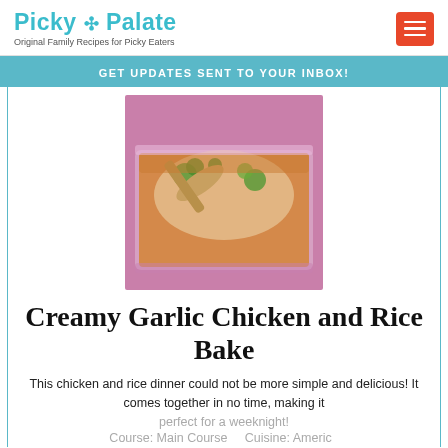Picky Palate — Original Family Recipes for Picky Eaters
GET UPDATES SENT TO YOUR INBOX!
[Figure (photo): A casserole dish of creamy garlic chicken and rice bake with broccoli, being scooped with a wooden spoon. Pink/purple background.]
Creamy Garlic Chicken and Rice Bake
This chicken and rice dinner could not be more simple and delicious! It comes together in no time, making it perfect for a weeknight!
Course: Main Course    Cuisine: American